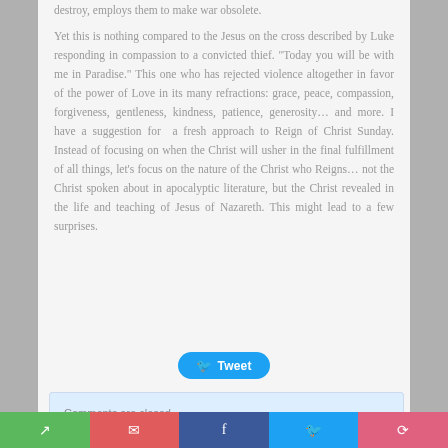destroy, employs them to make war obsolete.
Yet this is nothing compared to the Jesus on the cross described by Luke responding in compassion to a convicted thief. "Today you will be with me in Paradise." This one who has rejected violence altogether in favor of the power of Love in its many refractions: grace, peace, compassion, forgiveness, gentleness, kindness, patience, generosity… and more. I have a suggestion for a fresh approach to Reign of Christ Sunday. Instead of focusing on when the Christ will usher in the final fulfillment of all things, let's focus on the nature of the Christ who Reigns… not the Christ spoken about in apocalyptic literature, but the Christ revealed in the life and teaching of Jesus of Nazareth. This might lead to a few surprises.
[Figure (other): Tweet button in blue with bird icon]
Comments are closed.